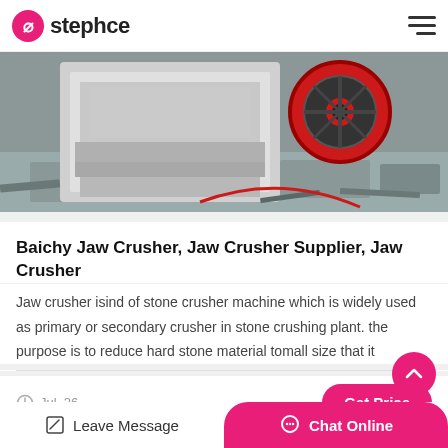stephce
[Figure (photo): Close-up photo of a jaw crusher machine with white metal frame and red flywheel, placed on a concrete floor with metal plates scattered around.]
Baichy Jaw Crusher, Jaw Crusher Supplier, Jaw Crusher
Jaw crusher isind of stone crusher machine which is widely used as primary or secondary crusher in stone crushing plant. the purpose is to reduce hard stone material tomall size that it
Jul_26
[Figure (photo): Partial view of next article image showing dark industrial machinery.]
Leave Message | Chat Online